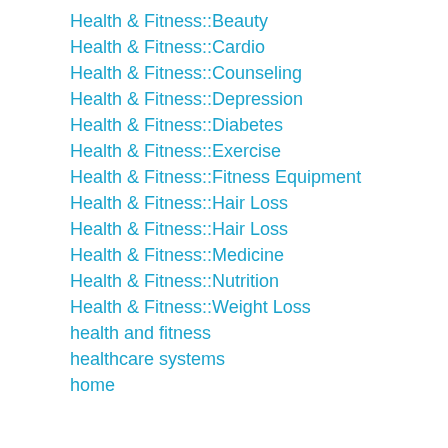Health & Fitness::Beauty
Health & Fitness::Cardio
Health & Fitness::Counseling
Health & Fitness::Depression
Health & Fitness::Diabetes
Health & Fitness::Exercise
Health & Fitness::Fitness Equipment
Health & Fitness::Hair Loss
Health & Fitness::Hair Loss
Health & Fitness::Medicine
Health & Fitness::Nutrition
Health & Fitness::Weight Loss
health and fitness
healthcare systems
home